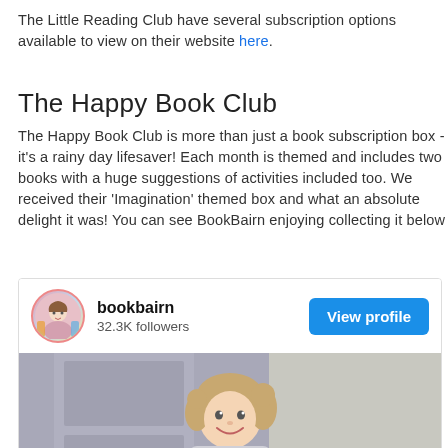The Little Reading Club have several subscription options available to view on their website here.
The Happy Book Club
The Happy Book Club is more than just a book subscription box - it's a rainy day lifesaver! Each month is themed and includes two books with a huge suggestions of activities included too. We received their 'Imagination' themed box and what an absolute delight it was! You can see BookBairn enjoying collecting it below
[Figure (screenshot): Instagram-style social card showing bookbairn profile with 32.3K followers, a View profile button, and a photo of a young girl smiling in a grey top]